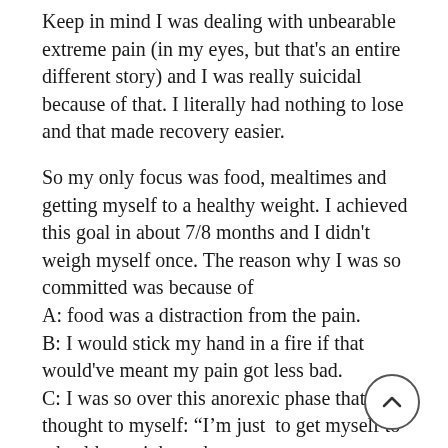Keep in mind I was dealing with unbearable extreme pain (in my eyes, but that's an entire different story) and I was really suicidal because of that. I literally had nothing to lose and that made recovery easier.
So my only focus was food, mealtimes and getting myself to a healthy weight. I achieved this goal in about 7/8 months and I didn't weigh myself once. The reason why I was so committed was because of
A: food was a distraction from the pain.
B: I would stick my hand in a fire if that would've meant my pain got less bad.
C: I was so over this anorexic phase that I thought to myself: "I'm just to get myself to a healthy weight and